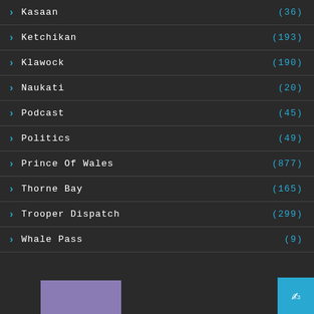Kasaan (36)
Ketchikan (193)
Klawock (190)
Naukati (20)
Podcast (45)
Politics (49)
Prince Of Wales (877)
Thorne Bay (165)
Trooper Dispatch (299)
Whale Pass (9)